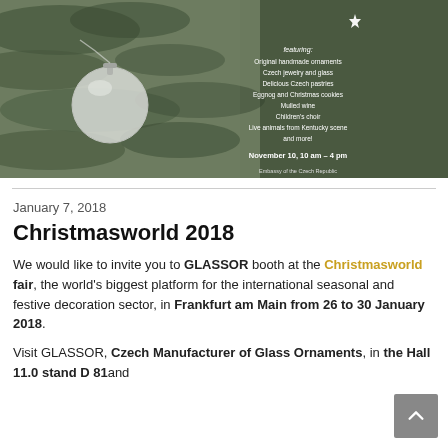[Figure (photo): Christmas ornament photo with a decorative invitation card overlay featuring pine branches, a glass ball ornament, and text about a Czech Christmas market featuring handmade ornaments, Czech jewelry and glass, Czech pastries, eggnog and Christmas cookies, mulled wine, children's choir, live animals, November 10, 10am-4pm, Embassy of the Czech Republic.]
January 7, 2018
Christmasworld 2018
We would like to invite you to GLASSOR booth at the Christmasworld fair, the world's biggest platform for the international seasonal and festive decoration sector, in Frankfurt am Main from 26 to 30 January 2018.
Visit GLASSOR, Czech Manufacturer of Glass Ornaments, in the Hall 11.0 stand D 81and